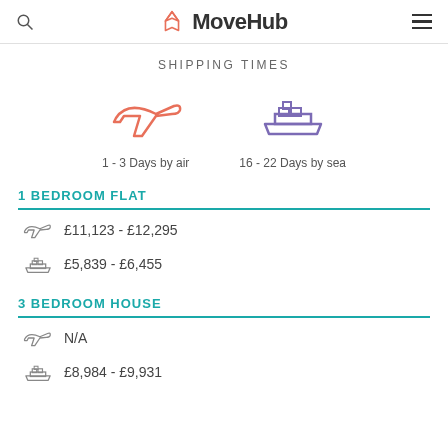MoveHub
SHIPPING TIMES
[Figure (infographic): Shipping times infographic showing airplane icon (1 - 3 Days by air) and ship icon (16 - 22 Days by sea)]
1 BEDROOM FLAT
£11,123 - £12,295 (by air)
£5,839 - £6,455 (by sea)
3 BEDROOM HOUSE
N/A (by air)
£8,984 - £9,931 (by sea)